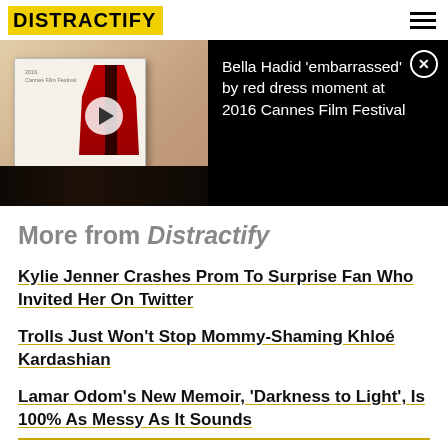DISTRACTIFY
[Figure (screenshot): Video thumbnail showing a book with a red dress photo, with a play button overlay, next to title text 'Bella Hadid embarrassed by red dress moment at 2016 Cannes Film Festival' on black background]
More from Distractify
Kylie Jenner Crashes Prom To Surprise Fan Who Invited Her On Twitter
Trolls Just Won't Stop Mommy-Shaming Khloé Kardashian
Lamar Odom's New Memoir, 'Darkness to Light', Is 100% As Messy As It Sounds